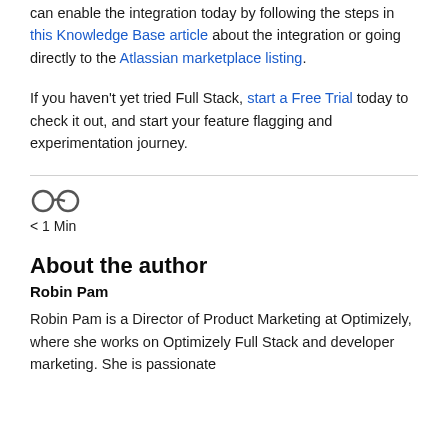can enable the integration today by following the steps in this Knowledge Base article about the integration or going directly to the Atlassian marketplace listing.
If you haven't yet tried Full Stack, start a Free Trial today to check it out, and start your feature flagging and experimentation journey.
[Figure (other): Reading glasses icon indicating read time]
< 1 Min
About the author
Robin Pam
Robin Pam is a Director of Product Marketing at Optimizely, where she works on Optimizely Full Stack and developer marketing. She is passionate